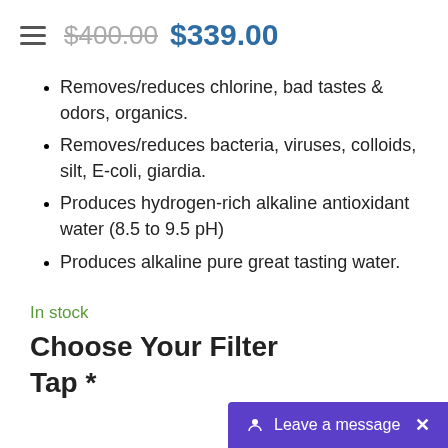$400.00 $339.00
Removes/reduces chlorine, bad tastes & odors, organics.
Removes/reduces bacteria, viruses, colloids, silt, E-coli, giardia.
Produces hydrogen-rich alkaline antioxidant water (8.5 to 9.5 pH)
Produces alkaline pure great tasting water.
In stock
Choose Your Filter Tap *
Leave a message